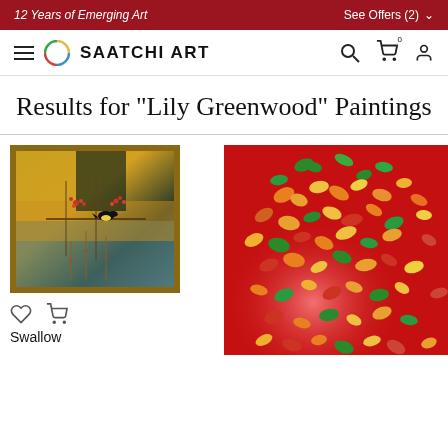12 Years of Emerging Art   See Offers (2)
[Figure (logo): Saatchi Art navigation bar with hamburger menu, circular colorful logo, SAATCHI ART brand name, search icon, cart icon, and user icon]
Results for "Lily Greenwood" Paintings
[Figure (photo): Painting of a swallow bird perched on a branch with reddish foliage against yellow-gold and teal background, framed in brown]
Swallow
[Figure (photo): Painting of colorful butterflies (yellow, orange, green, red) scattered on a vivid red background, partially visible]